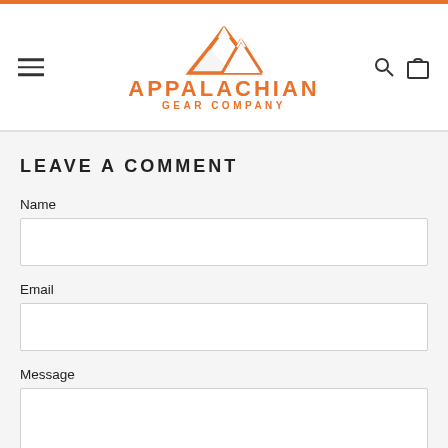[Figure (logo): Appalachian Gear Company logo with orange mountain icon and orange text]
LEAVE A COMMENT
Name
Email
Message